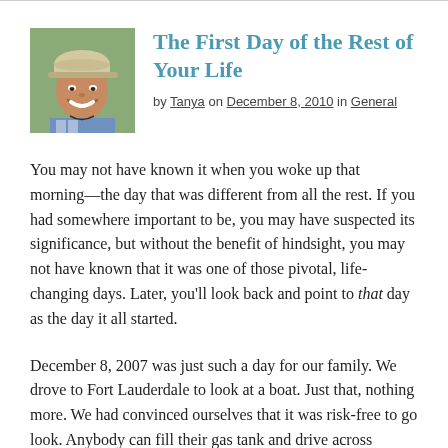[Figure (photo): Small square author photo of a woman smiling, wearing a cap and blue top, outdoors]
The First Day of the Rest of Your Life
by Tanya on December 8, 2010 in General
You may not have known it when you woke up that morning—the day that was different from all the rest. If you had somewhere important to be, you may have suspected its significance, but without the benefit of hindsight, you may not have known that it was one of those pivotal, life-changing days. Later, you'll look back and point to that day as the day it all started.
December 8, 2007 was just such a day for our family. We drove to Fort Lauderdale to look at a boat. Just that, nothing more. We had convinced ourselves that it was risk-free to go look. Anybody can fill their gas tank and drive across Alligator